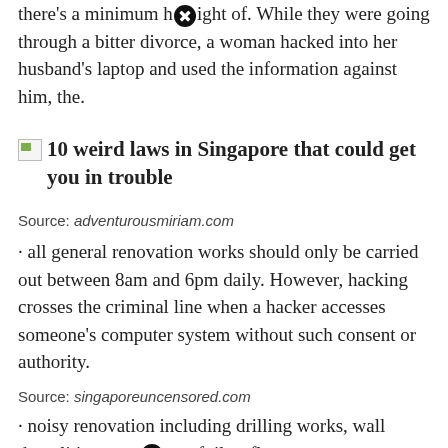there's a minimum height of. While they were going through a bitter divorce, a woman hacked into her husband's laptop and used the information against him, the.
10 weird laws in Singapore that could get you in trouble
Source: adventurousmiriam.com
· all general renovation works should only be carried out between 8am and 6pm daily. However, hacking crosses the criminal line when a hacker accesses someone's computer system without such consent or authority.
Source: singaporeuncensored.com
· noisy renovation including drilling works, wall demolitions, cutting of tiles, floor